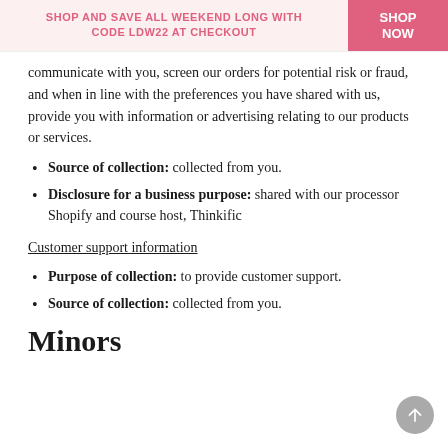SHOP AND SAVE ALL WEEKEND LONG WITH CODE LDW22 AT CHECKOUT  SHOP NOW
communicate with you, screen our orders for potential risk or fraud, and when in line with the preferences you have shared with us, provide you with information or advertising relating to our products or services.
Source of collection: collected from you.
Disclosure for a business purpose: shared with our processor Shopify and course host, Thinkific
Customer support information
Purpose of collection: to provide customer support.
Source of collection: collected from you.
Minors